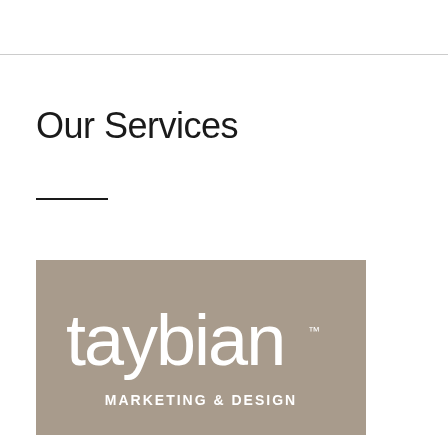Our Services
[Figure (logo): Taybian Marketing & Design logo: white rounded text 'taybian' with a registered trademark symbol and 'MARKETING & DESIGN' subtitle on a taupe/beige-brown background]